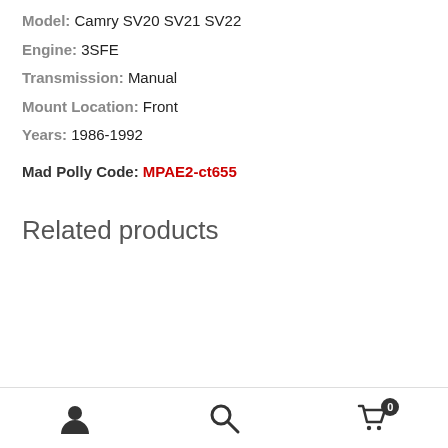Model: Camry SV20 SV21 SV22
Engine: 3SFE
Transmission: Manual
Mount Location: Front
Years: 1986-1992
Mad Polly Code: MPAE2-ct655
Related products
Navigation bar with user, search, and cart icons